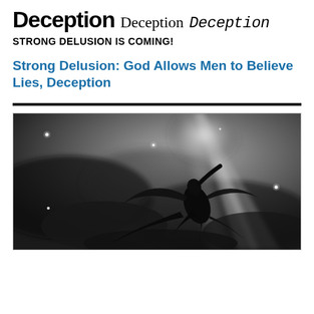Deception  Deception  Deception
STRONG DELUSION IS COMING!
Strong Delusion: God Allows Men to Believe Lies, Deception
[Figure (illustration): A Gustave Doré-style black and white illustration showing a dark winged figure (demon/Satan) falling through a dramatic sky with rays of light breaking through clouds and stars visible in the darkness.]